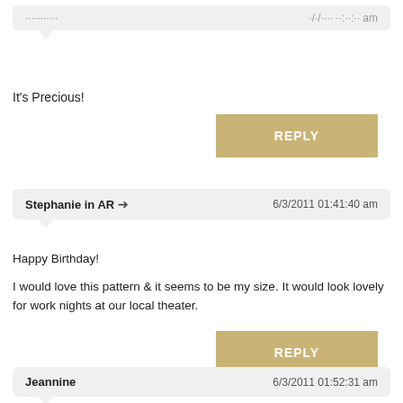[Figure (other): Hamburger menu icon top right]
It's Precious!
REPLY
Stephanie in AR  6/3/2011 01:41:40 am
Happy Birthday!

I would love this pattern & it seems to be my size. It would look lovely for work nights at our local theater.
REPLY
Jeannine  6/3/2011 01:52:31 am